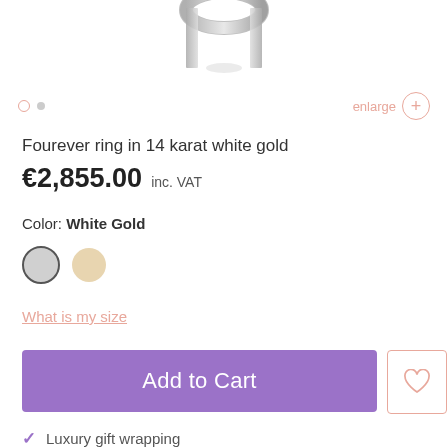[Figure (photo): Partial view of a ring in white gold/silver, showing just the top portion of the ring against a white background.]
Fourever ring in 14 karat white gold
€2,855.00 inc. VAT
Color: White Gold
What is my size
Add to Cart
Luxury gift wrapping